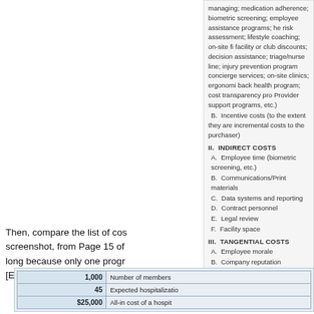managing; medication adherence; biometric screening; employee assistance programs; health risk assessment; lifestyle coaching; on-site fitness facility or club discounts; decision assistance; triage/nurse line; injury prevention programs; concierge services; on-site clinics; ergonomics; back health program; cost transparency programs; Provider support programs, etc.)
B. Incentive costs (to the extent they are incremental costs to the purchaser)
II. INDIRECT COSTS
A. Employee time (biometric screening, etc.)
B. Communications/Print materials
C. Data systems and reporting
D. Contract personnel
E. Legal review
F. Facility space
III. TANGENTIAL COSTS
A. Employee morale
B. Company reputation
C. Legal challenges
D. Selection effects (on employee population)
Then, compare the list of costs to the screenshot, from Page 15 of the list is long because only one program is used [Employee Health Management]
|  |  |
| --- | --- |
| 1,000 | Number of members |
| 45 | Expected hospitalizations |
| $25,000 | All-in cost of a hospitalization |